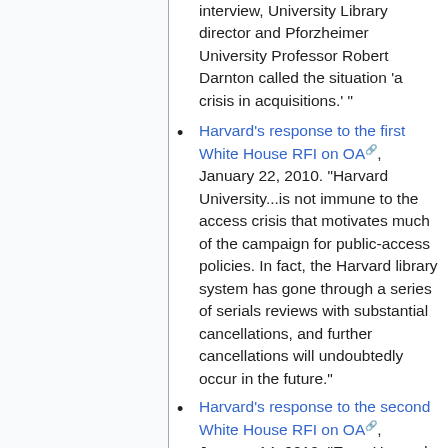interview, University Library director and Pforzheimer University Professor Robert Darnton called the situation 'a crisis in acquisitions.' "
Harvard's response to the first White House RFI on OA, January 22, 2010. "Harvard University...is not immune to the access crisis that motivates much of the campaign for public-access policies. In fact, the Harvard library system has gone through a series of serials reviews with substantial cancellations, and further cancellations will undoubtedly occur in the future."
Harvard's response to the second White House RFI on OA, January 14, 2012. "Even Harvard University, whose library is the...